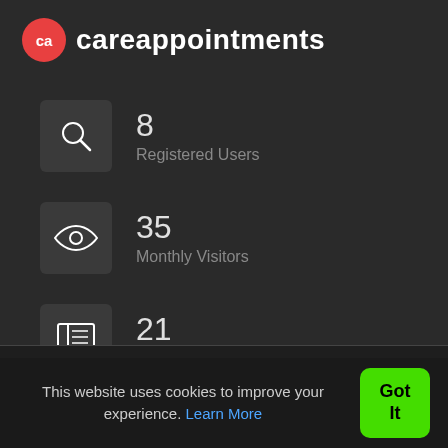ca careappointments
8
Registered Users
35
Monthly Visitors
21
Articles
This website uses cookies to improve your experience. Learn More